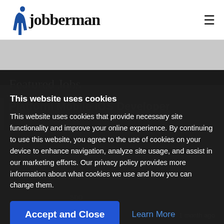Jobberman
Featured Jobs
This website uses cookies
This website uses cookies that provide necessary site functionality and improve your online experience. By continuing to use this website, you agree to the use of cookies on your device to enhance navigation, analyze site usage, and assist in our marketing efforts. Our privacy policy provides more information about what cookies we use and how you can change them.
Accept and Close
Learn More
1 month ago